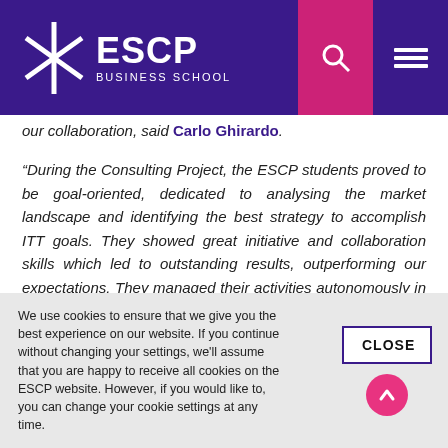ESCP BUSINESS SCHOOL
our collaboration, said Carlo Ghirardo.
“During the Consulting Project, the ESCP students proved to be goal-oriented, dedicated to analysing the market landscape and identifying the best strategy to accomplish ITT goals. They showed great initiative and collaboration skills which led to outstanding results, outperforming our expectations. They managed their activities autonomously in a complex environment and on a tight schedule” remarked Samuele Baronchelli.
We use cookies to ensure that we give you the best experience on our website. If you continue without changing your settings, we’ll assume that you are happy to receive all cookies on the ESCP website. However, if you would like to, you can change your cookie settings at any time.